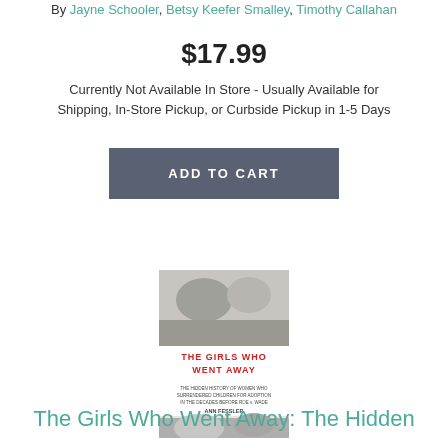By Jayne Schooler, Betsy Keefer Smalley, Timothy Callahan
$17.99
Currently Not Available In Store - Usually Available for Shipping, In-Store Pickup, or Curbside Pickup in 1-5 Days
ADD TO CART
[Figure (photo): Book cover of 'The Girls Who Went Away: The Hidden History of Women Who Surrendered Children for Adoption in the Decades Before Roe v. Wade' by Ann Fessler]
The Girls Who Went Away: The Hidden